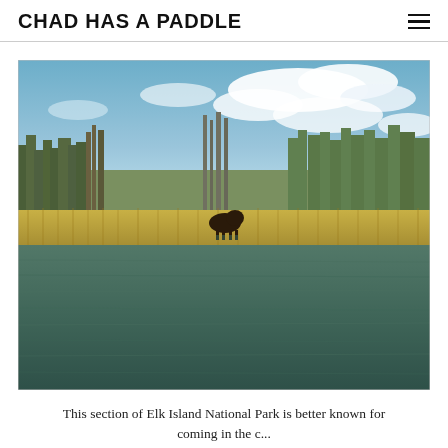CHAD HAS A PADDLE
[Figure (photo): A bison standing in shallow water near reeds and trees at Elk Island National Park. The photo is taken from water level showing choppy dark water in the foreground, golden reeds and bare trees along the shoreline in the middle ground, and a partly cloudy blue sky above.]
This section of Elk Island National Park is better known for coming in the c...